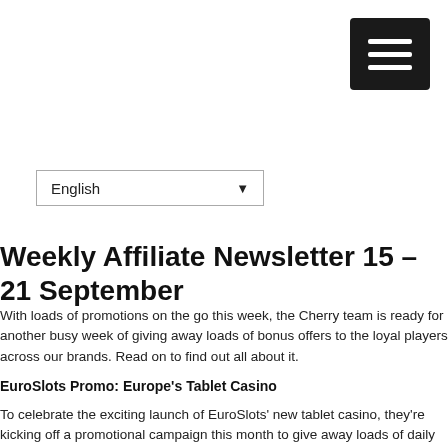[Figure (other): Hamburger menu button — black rectangle with three white horizontal bars]
[Figure (other): Language selector dropdown showing 'English' with a downward triangle arrow]
Weekly Affiliate Newsletter 15 – 21 September
With loads of promotions on the go this week, the Cherry team is ready for another busy week of giving away loads of bonus offers to the loyal players across our brands. Read on to find out all about it.
EuroSlots Promo: Europe's Tablet Casino
To celebrate the exciting launch of EuroSlots' new tablet casino, they're kicking off a promotional campaign this month to give away loads of daily prizes and more, so stay tuned to hear all the updates. For the loyal